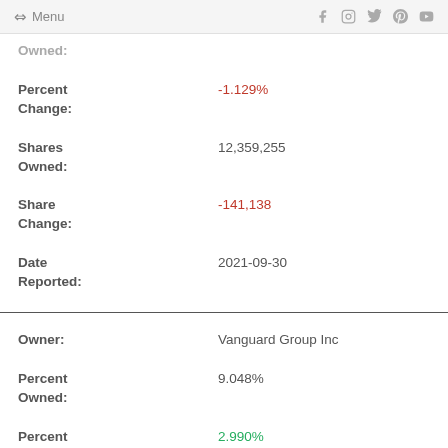Menu
Owned:
Percent Change: -1.129%
Shares Owned: 12,359,255
Share Change: -141,138
Date Reported: 2021-09-30
Owner: Vanguard Group Inc
Percent Owned: 9.048%
Percent Change: 2.990%
Shares: 12,205,251